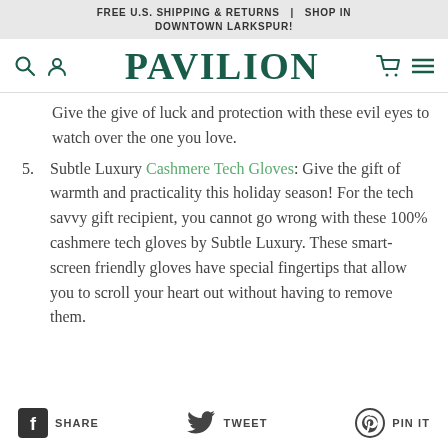FREE U.S. SHIPPING & RETURNS | SHOP IN DOWNTOWN LARKSPUR!
[Figure (logo): Pavilion logo with search, account, cart and menu icons]
Give the give of luck and protection with these evil eyes to watch over the one you love.
5. Subtle Luxury Cashmere Tech Gloves: Give the gift of warmth and practicality this holiday season! For the tech savvy gift recipient, you cannot go wrong with these 100% cashmere tech gloves by Subtle Luxury. These smart-screen friendly gloves have special fingertips that allow you to scroll your heart out without having to remove them.
SHARE  TWEET  PIN IT